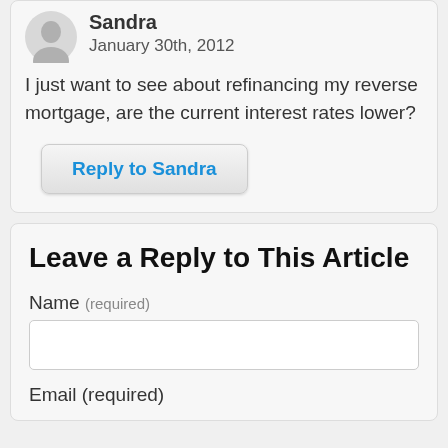[Figure (illustration): Gray generic user avatar icon]
Sandra
January 30th, 2012
I just want to see about refinancing my reverse mortgage, are the current interest rates lower?
Reply to Sandra
Leave a Reply to This Article
Name (required)
Email (required)